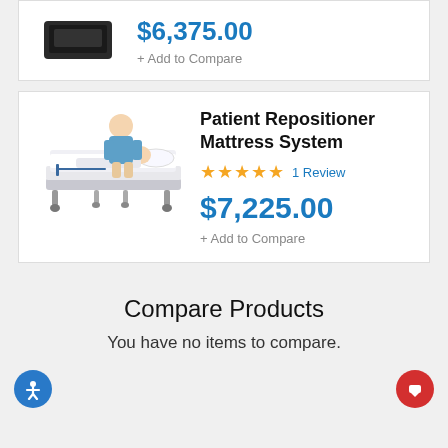[Figure (photo): Dark-colored mattress product image (partial, top of page)]
$6,375.00
+ Add to Compare
[Figure (photo): Nurse attending to a patient lying in a hospital bed with repositioner mattress system]
Patient Repositioner Mattress System
★★★★★ 1 Review
$7,225.00
+ Add to Compare
Compare Products
You have no items to compare.